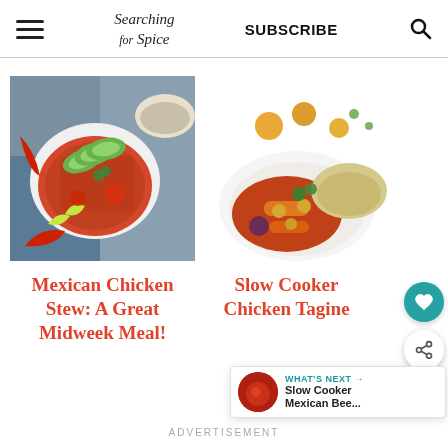Searching for Spice | SUBSCRIBE
[Figure (photo): Mexican Chicken Stew in a white bowl with avocado slices, lime wedges, tomatoes, cilantro, and chili peppers on a blue cloth background with rice bowl]
[Figure (photo): Slow Cooker Chicken Tagine on a white plate with chickpeas, carrots, dried apricots, cilantro, and couscous on a white background]
Mexican Chicken Stew: A Great Midweek Meal!
Slow Cooker Chicken Tagine
ADVERTISEMENT
WHAT'S NEXT → Slow Cooker Mexican Bee...